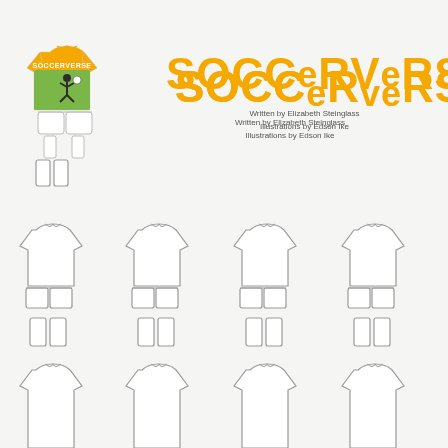Boyds Mills & Kane 2019
ISBN: 1629792407
[Figure (illustration): Orange soccer jersey with Soccerverse book cover image, white shorts, and white socks cut-out template]
SOCCERVERSE
Written by Elizabeth Steinglass
Illustrations by Edson Ike
[Figure (illustration): Four sets of blank soccer uniform cut-out templates (jersey, shorts, socks) arranged in a 4-column grid]
[Figure (illustration): Four partial soccer jersey cut-out templates at bottom of page]